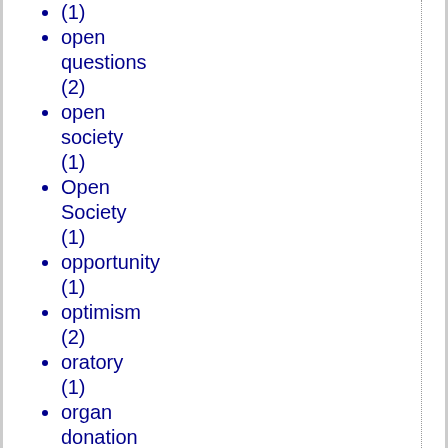(1)
open questions (2)
open society (1)
Open Society (1)
opportunity (1)
optimism (2)
oratory (1)
organ donation (23)
organ harvesting (2)
organ transplant (5)